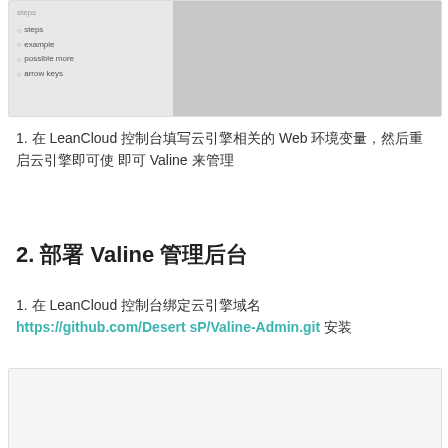[Figure (screenshot): Screenshot of a web interface showing a sidebar with menu items (steps, example, possible more, arrow keys) and a gray content area on the right]
在 LeanCloud 控制台填写云引擎相关的 Web 环境变量，然后重启云引擎即可使用 Valine 来管理
2. 部署 Valine 管理后台
在 LeanCloud 控制台绑定云引擎域名 https://github.com/DesertSP/Valine-Admin.git 安装
[Figure (screenshot): Screenshot of a web interface, light gray background, partially visible]